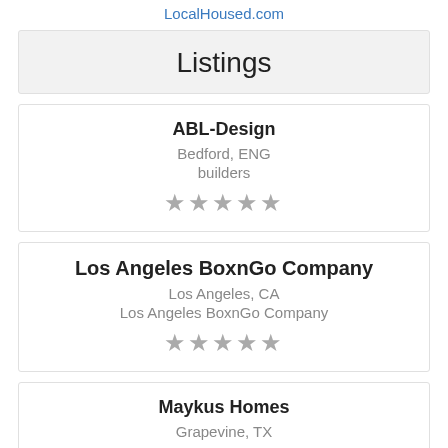LocalHoused.com
Listings
ABL-Design
Bedford, ENG
builders
★★★★★
Los Angeles BoxnGo Company
Los Angeles, CA
Los Angeles BoxnGo Company
★★★★★
Maykus Homes
Grapevine, TX